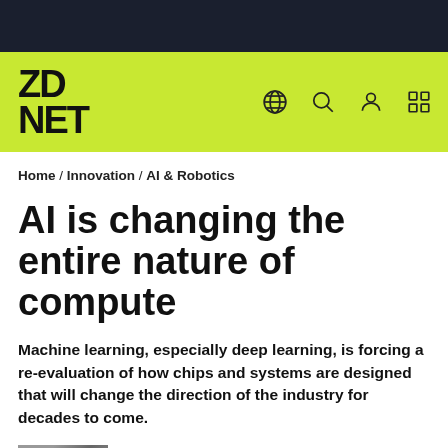ZDNET
Home / Innovation / AI & Robotics
AI is changing the entire nature of compute
Machine learning, especially deep learning, is forcing a re-evaluation of how chips and systems are designed that will change the direction of the industry for decades to come.
[Figure (photo): Partial view of a photo related to AI and computing hardware]